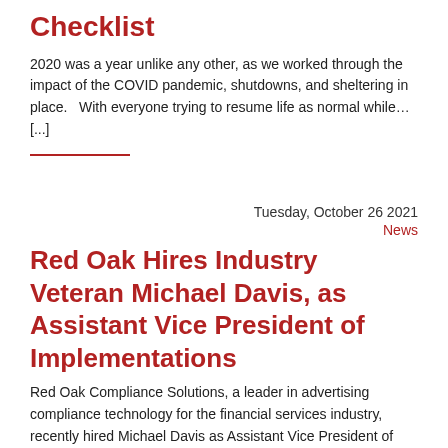Checklist
2020 was a year unlike any other, as we worked through the impact of the COVID pandemic, shutdowns, and sheltering in place.   With everyone trying to resume life as normal while… [...]
Tuesday, October 26 2021
News
Red Oak Hires Industry Veteran Michael Davis, as Assistant Vice President of Implementations
Red Oak Compliance Solutions, a leader in advertising compliance technology for the financial services industry, recently hired Michael Davis as Assistant Vice President of Implementations. In Michael's new role, he… [...]